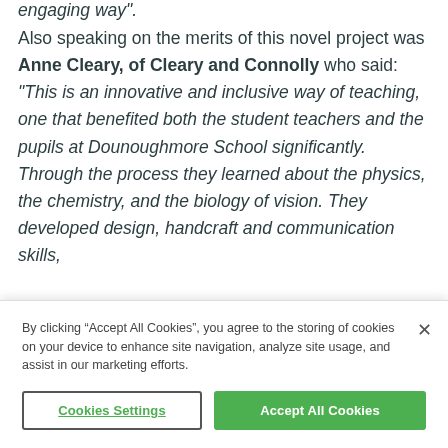engaging way".
Also speaking on the merits of this novel project was Anne Cleary, of Cleary and Connolly who said: “This is an innovative and inclusive way of teaching, one that benefited both the student teachers and the pupils at Dounoughmore School significantly. Through the process they learned about the physics, the chemistry, and the biology of vision. They developed design, handcraft and communication skills,
By clicking “Accept All Cookies”, you agree to the storing of cookies on your device to enhance site navigation, analyze site usage, and assist in our marketing efforts.
Cookies Settings
Accept All Cookies